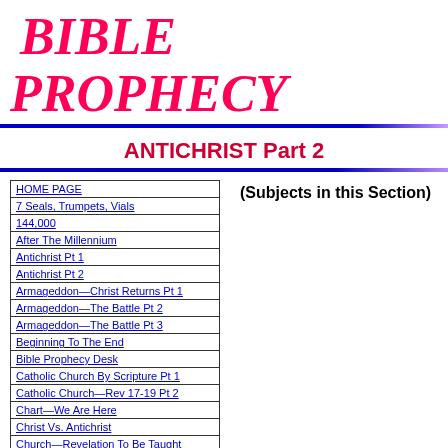BIBLE PROPHECY
ANTICHRIST Part 2
| HOME PAGE |
| 7 Seals, Trumpets, Vials |
| 144,000 |
| After The Millennium |
| Antichrist Pt 1 |
| Antichrist Pt 2 |
| Armageddon—Christ Returns Pt 1 |
| Armageddon—The Battle Pt 2 |
| Armageddon—The Battle Pt 3 |
| Beginning To The End |
| Bible Prophecy Desk |
| Catholic Church By Scripture Pt 1 |
| Catholic Church—Rev 17-19 Pt 2 |
| Chart—We Are Here |
| Christ Vs. Antichrist |
| Church—Revelation To Be Taught |
| Daniel Chapter 7 |
| Daniel Chapter 9:24-27 |
| End Time, End Times Explained |
(Subjects in this Section)